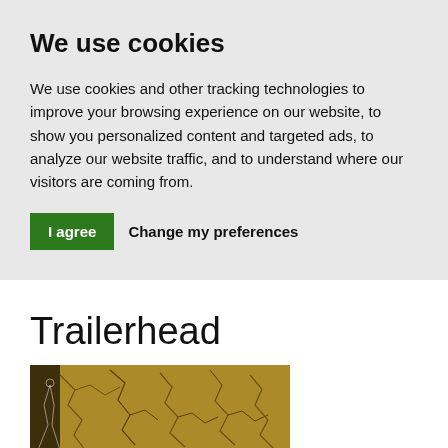We use cookies
We use cookies and other tracking technologies to improve your browsing experience on our website, to show you personalized content and targeted ads, to analyze our website traffic, and to understand where our visitors are coming from.
I agree   Change my preferences
Trailerhead
[Figure (photo): Book cover image showing a textured golden/brown cracked surface pattern against a dark background]